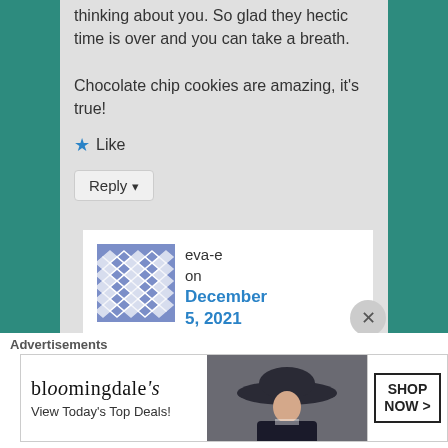thinking about you. So glad they hectic time is over and you can take a breath.
Chocolate chip cookies are amazing, it's true!
★ Like
Reply ↓
eva-e on December 5, 2021 at 3:20 pm said:
Advertisements
[Figure (illustration): Bloomingdale's advertisement banner showing logo, 'View Today's Top Deals!' tagline, model with hat, and 'SHOP NOW >' button]